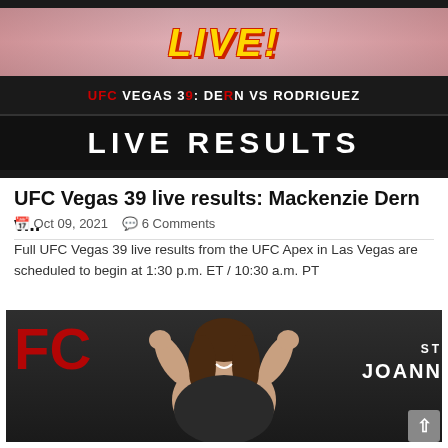[Figure (screenshot): UFC Vegas 39 Live Results banner showing 'LIVE!' text in yellow with fighters in background, 'UFC VEGAS 39: DERN VS RODRIGUEZ' subtitle, and 'LIVE RESULTS' on black background]
UFC Vegas 39 live results: Mackenzie Dern v...
Oct 09, 2021   6 Comments
Full UFC Vegas 39 live results from the UFC Apex in Las Vegas are scheduled to begin at 1:30 p.m. ET / 10:30 a.m. PT
[Figure (photo): Female UFC fighter (Mackenzie Dern) posing with fists raised and smiling, in front of UFC backdrop showing UFC logo and 'JOANN' text partially visible]